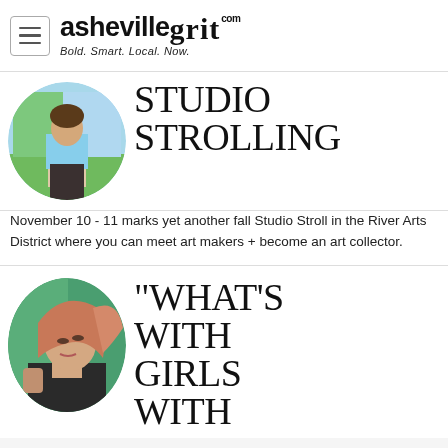ashevillegrit.com — Bold. Smart. Local. Now.
[Figure (photo): Circular thumbnail of a person in a blue shirt in front of a colorful painted background]
STUDIO STROLLING
November 10 - 11 marks yet another fall Studio Stroll in the River Arts District where you can meet art makers + become an art collector.
[Figure (photo): Circular thumbnail of a young woman with pink/auburn hair looking upward, against a green background]
"WHAT'S WITH GIRLS WITH